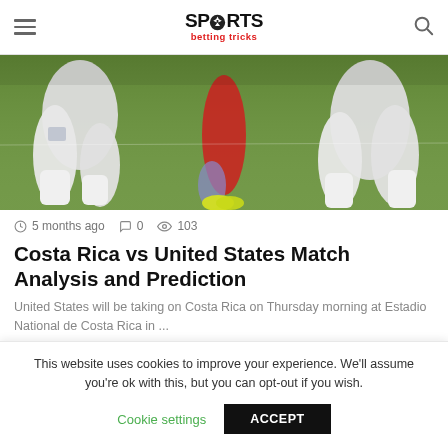SPORTS betting tricks
[Figure (photo): Close-up of soccer players' legs in white uniforms on a grass field, with a player in red uniform in the background]
5 months ago  0  103
Costa Rica vs United States Match Analysis and Prediction
United States will be taking on Costa Rica on Thursday morning at Estadio National de Costa Rica in ...
Read more »
This website uses cookies to improve your experience. We'll assume you're ok with this, but you can opt-out if you wish.
Cookie settings  ACCEPT